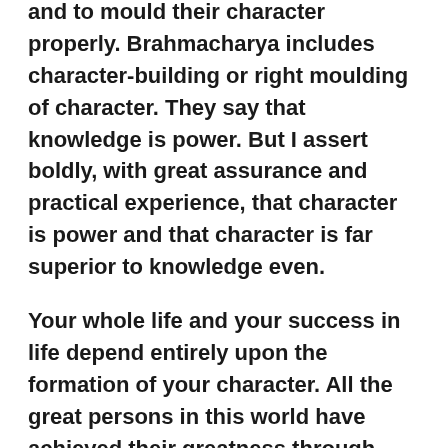and to mould their character properly. Brahmacharya includes character-building or right moulding of character. They say that knowledge is power. But I assert boldly, with great assurance and practical experience, that character is power and that character is far superior to knowledge even.
Your whole life and your success in life depend entirely upon the formation of your character. All the great persons in this world have achieved their greatness through character and character alone. The brilliant luminaries of the world have won their laurels of fame, reputation and honour through character and character alone.
The teachers themselves should be strictly moral and pure. They should be endowed with ethical perfection.
When students and the art of creativity and in